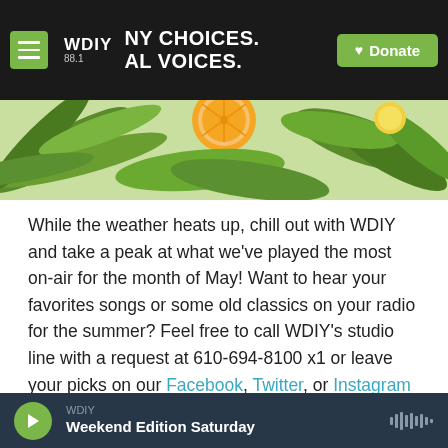WDIY 88.1 — NY CHOICES. ALL VOICES. — Donate
[Figure (illustration): Tropical summer banner with palm leaves, orange slice, and monstera leaves on a light green background]
While the weather heats up, chill out with WDIY and take a peak at what we've played the most on-air for the month of May! Want to hear your favorites songs or some old classics on your radio for the summer? Feel free to call WDIY's studio line with a request at 610-694-8100 x1 or leave your picks on our Facebook, Twitter, or Instagram pages.
[Figure (other): Gold/olive colored banner header for a content section]
WDIY — Weekend Edition Saturday